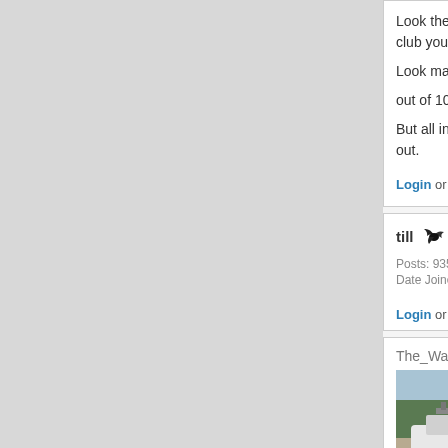Look they could of b... club you learn very...
Look maskie if you ...
out of 10 times I wil...
But all in all nice ba... out.
Login or register to post comments
till  Posts: 9358  Date Joined: 21/02/08
Emps+Harlies = ???  Tue, 2010-05-04 18:49  Emps+Harlies = ???
Login or register to post comments
The_Wanderer
Maskie either way it ...  Tue, 2010-05-04 19:00  Maskie either way it is ov...
[Figure (photo): Photo of a boat (rear view showing motor) parked near trees]